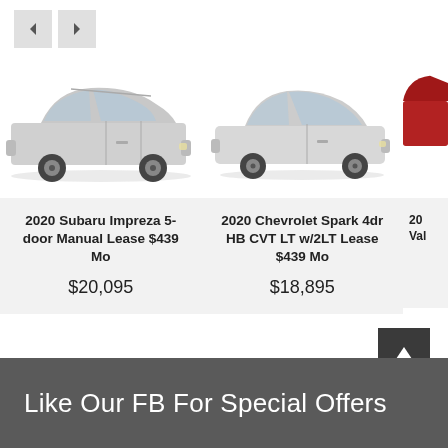[Figure (illustration): Navigation left/right arrow buttons]
[Figure (photo): 2020 Subaru Impreza 5-door silver hatchback side view]
2020 Subaru Impreza 5-door Manual Lease $439 Mo
$20,095
[Figure (photo): 2020 Chevrolet Spark white hatchback side view]
2020 Chevrolet Spark 4dr HB CVT LT w/2LT Lease $439 Mo
$18,895
[Figure (photo): Partial view of a red car (third card, cropped)]
Like Our FB For Special Offers